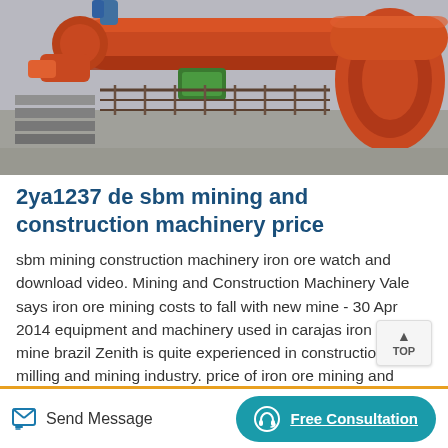[Figure (photo): Industrial mining equipment — large orange cylindrical pipes/drums and machinery on a construction/mining site with metal railings and concrete structures.]
2ya1237 de sbm mining and construction machinery price
sbm mining construction machinery iron ore watch and download video. Mining and Construction Machinery Vale says iron ore mining costs to fall with new mine - 30 Apr 2014 equipment and machinery used in carajas iron ore mine brazil Zenith is quite experienced in construction, milling and mining industry. price of iron ore mining and treatment: SBM as one of the...
Send Message   Free Consultation